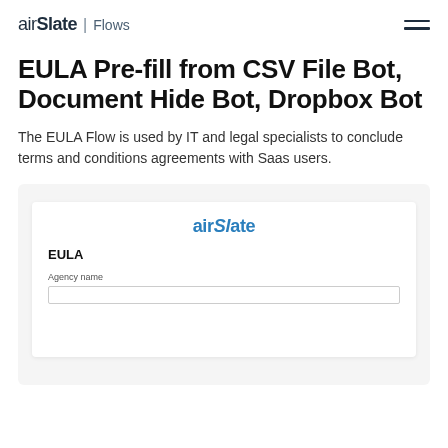airSlate | Flows
EULA Pre-fill from CSV File Bot, Document Hide Bot, Dropbox Bot
The EULA Flow is used by IT and legal specialists to conclude terms and conditions agreements with Saas users.
[Figure (screenshot): Preview of an airSlate EULA form document showing the airSlate logo, EULA title, and an Agency name input field.]